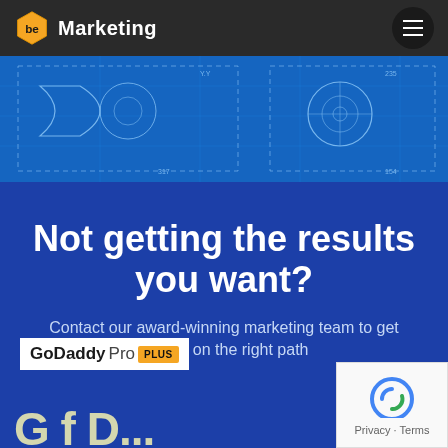be Marketing
[Figure (illustration): Blueprint/technical drawing banner with geometric shapes on blue background]
Not getting the results you want?
Contact our award-winning marketing team to get started on the right path
[Figure (logo): GoDaddy Pro PLUS logo]
[Figure (other): reCAPTCHA widget showing Privacy - Terms]